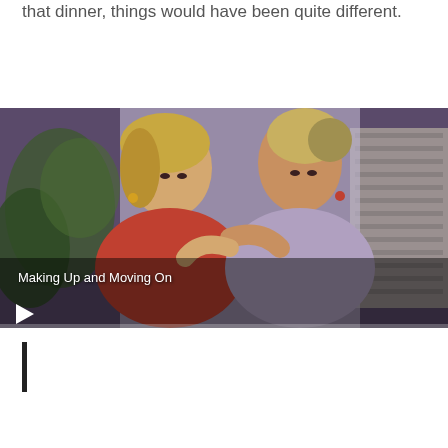that dinner, things would have been quite different.
[Figure (screenshot): Video thumbnail showing two women embracing, one consoling the other. White text overlay reads 'Making Up and Moving On' with a play button at bottom left.]